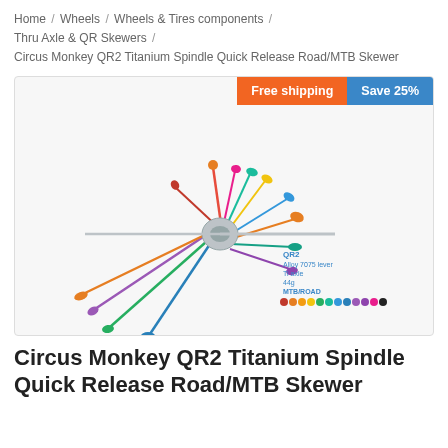Home / Wheels / Wheels & Tires components / Thru Axle & QR Skewers / Circus Monkey QR2 Titanium Spindle Quick Release Road/MTB Skewer
[Figure (photo): Product photo of Circus Monkey QR2 Titanium Spindle Quick Release skewers in multiple colors, with labels: QR2, Alloy 7075 lever, Ti axle, 44g, MTB/ROAD, and color dots. Badges: Free shipping (orange), Save 25% (blue).]
Circus Monkey QR2 Titanium Spindle Quick Release Road/MTB Skewer